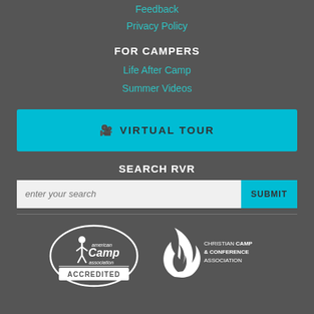Feedback
Privacy Policy
FOR CAMPERS
Life After Camp
Summer Videos
[Figure (other): Teal button with video camera icon and text VIRTUAL TOUR]
SEARCH RVR
[Figure (other): Search bar with placeholder 'enter your search' and SUBMIT button]
[Figure (logo): American Camp Association Accredited logo - white oval badge]
[Figure (logo): Christian Camp & Conference Association logo - white flame droplet icon with text]